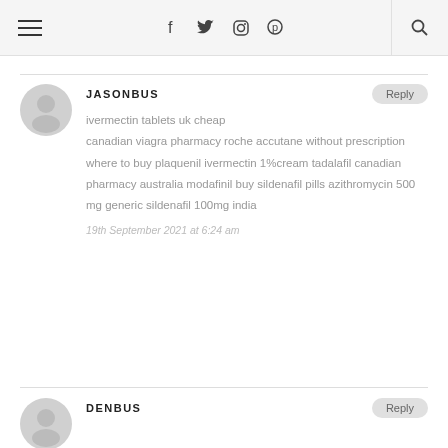Navigation bar with menu, social icons (Facebook, Twitter, Instagram, Pinterest), and search
JASONBUS
ivermectin tablets uk cheap
canadian viagra pharmacy roche accutane without prescription where to buy plaquenil ivermectin 1%cream tadalafil canadian pharmacy australia modafinil buy sildenafil pills azithromycin 500 mg generic sildenafil 100mg india
19th September 2021 at 6:24 am
DENBUS